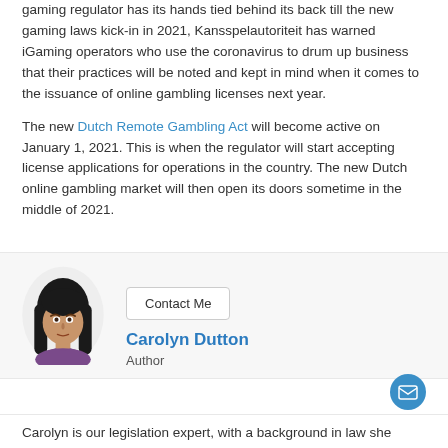gaming regulator has its hands tied behind its back till the new gaming laws kick-in in 2021, Kansspelautoriteit has warned iGaming operators who use the coronavirus to drum up business that their practices will be noted and kept in mind when it comes to the issuance of online gambling licenses next year.
The new Dutch Remote Gambling Act will become active on January 1, 2021. This is when the regulator will start accepting license applications for operations in the country. The new Dutch online gambling market will then open its doors sometime in the middle of 2021.
[Figure (illustration): Cartoon illustration of a woman with dark hair, serving as author avatar for Carolyn Dutton]
Contact Me
Carolyn Dutton
Author
Carolyn is our legislation expert, with a background in law she